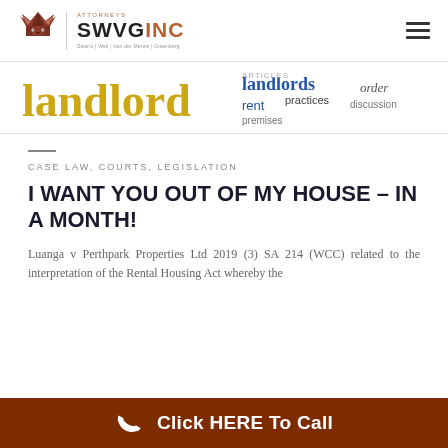SWVGINC Attorneys — navigation header with logo and hamburger menu
[Figure (infographic): Word cloud / tag cloud banner with landlord-related legal terms: 'landlord', 'landlords', 'rent', 'practices', 'premises', 'order', 'discussion' in yellow, blue, and dark text]
CASE LAW, COURTS, LEGISLATION
I WANT YOU OUT OF MY HOUSE – IN A MONTH!
Luanga v Perthpark Properties Ltd 2019 (3) SA 214 (WCC) related to the interpretation of the Rental Housing Act whereby the
Click HERE To Call